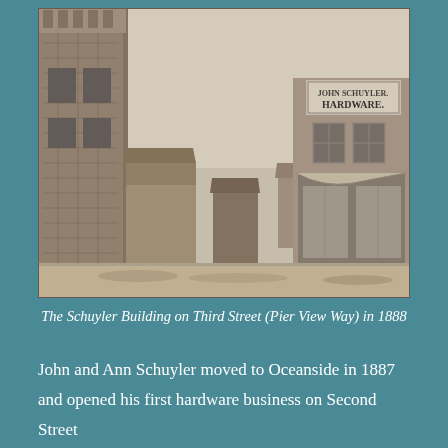[Figure (photo): Black and white historical photograph of the Schuyler Building on Third Street (Pier View Way) in 1888. A two-story brick building with 'John Schuyler Hardware' sign on top is visible on the right. A tall ornate building is partially visible on the left edge. Smaller wooden structures are in the middle ground.]
The Schuyler Building on Third Street (Pier View Way) in 1888
John and Ann Schuyler moved to Oceanside in 1887 and opened his first hardware business on Second Street (now Mission Avenue) which he purchased from